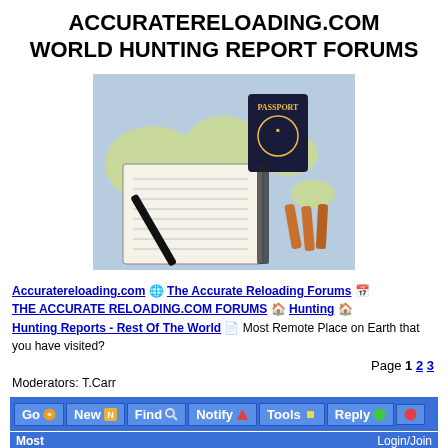ACCURATERELOADING.COM WORLD HUNTING REPORT FORUMS
[Figure (photo): A world map open in a book, with a US passport, a notebook with handwritten text, a pen, and several rifle cartridges arranged on top.]
Accuratereloading.com  The Accurate Reloading Forums  THE ACCURATE RELOADING.COM FORUMS  Hunting  Hunting Reports - Rest Of The World  Most Remote Place on Earth that you have visited?
Page 1 2 3
Moderators: T.Carr
Go  New  Find  Notify  Tools  Reply
Most  Login/Join